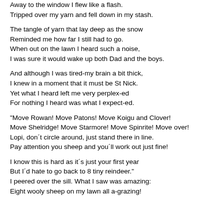Away to the window I flew like a flash.
Tripped over my yarn and fell down in my stash.

The tangle of yarn that lay deep as the snow
Reminded me how far I still had to go.
When out on the lawn I heard such a noise,
I was sure it would wake up both Dad and the boys.

And although I was tired-my brain a bit thick,
I knew in a moment that it must be St Nick.
Yet what I heard left me very perplex-ed
For nothing I heard was what I expect-ed.

"Move Rowan! Move Patons! Move Koigu and Clover!
Move Shelridge! Move Starmore! Move Spinrite! Move over!
Lopi, don´t circle around, just stand there in line.
Pay attention you sheep and you´ll work out just fine!

I know this is hard as it´s just your first year
But I´d hate to go back to 8 tiny reindeer."
I peered over the sill. What I saw was amazing:
Eight wooly sheep on my lawn all a-grazing!